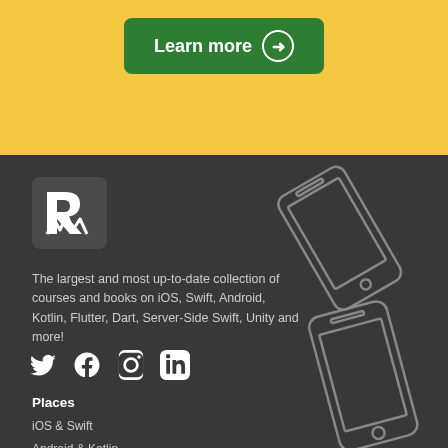[Figure (other): Green Learn more button with arrow on yellow background]
[Figure (logo): Raywenderlich logo white icon on dark background]
The largest and most up-to-date collection of courses and books on iOS, Swift, Android, Kotlin, Flutter, Dart, Server-Side Swift, Unity and more!
[Figure (other): Social media icons: Twitter, Facebook, Instagram, LinkedIn]
Places
iOS & Swift
Android & Kotlin
Flutter & Dart
[Figure (illustration): Two mobile phone outlines/illustrations in grey on dark background]